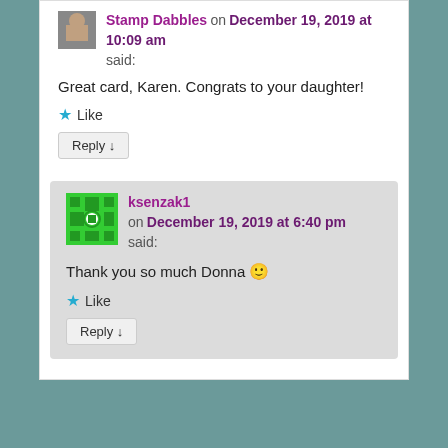[Figure (photo): Small avatar photo of Stamp Dabbles user at top]
Stamp Dabbles on December 19, 2019 at 10:09 am
said:
Great card, Karen. Congrats to your daughter!
★ Like
Reply ↓
[Figure (illustration): Green pixel/Gravatar avatar for ksenzak1]
ksenzak1 on December 19, 2019 at 6:40 pm
said:
Thank you so much Donna 🙂
★ Like
Reply ↓